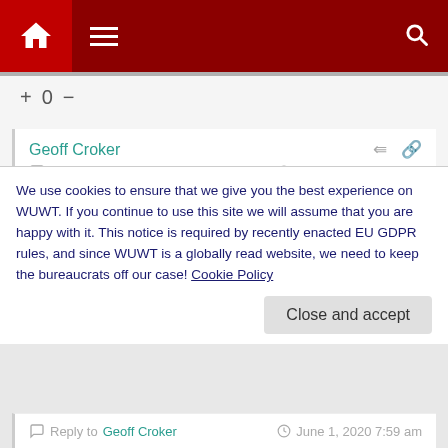Navigation bar with home, menu, and search icons
+ 0 −
Geoff Croker
Reply to HAS
June 1, 2020 3:27 am
No patents, no intention of getting one. The process wil remain a secret. Will be happy with a sovereign customer. The winner gets to take over the hydrogen derived product sector ie, methane, hydrocarbons, ammonia etc. The additional energy is stored in the water itself. No free lunch, it took IR to
We use cookies to ensure that we give you the best experience on WUWT. If you continue to use this site we will assume that you are happy with it. This notice is required by recently enacted EU GDPR rules, and since WUWT is a globally read website, we need to keep the bureaucrats off our case! Cookie Policy
Close and accept
Reply to Geoff Croker
June 1, 2020 7:59 am